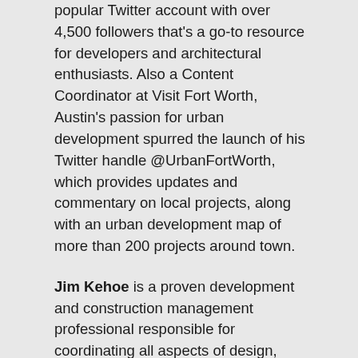popular Twitter account with over 4,500 followers that's a go-to resource for developers and architectural enthusiasts. Also a Content Coordinator at Visit Fort Worth, Austin's passion for urban development spurred the launch of his Twitter handle @UrbanFortWorth, which provides updates and commentary on local projects, along with an urban development map of more than 200 projects around town.
Jim Kehoe is a proven development and construction management professional responsible for coordinating all aspects of design, construction and overall development for VanTrust. He brings with him more than 20 years of experience in commercial real estate development and construction. His project experience includes office, industrial, retail, multifamily and mixed-use projects. As Senior Director of Development